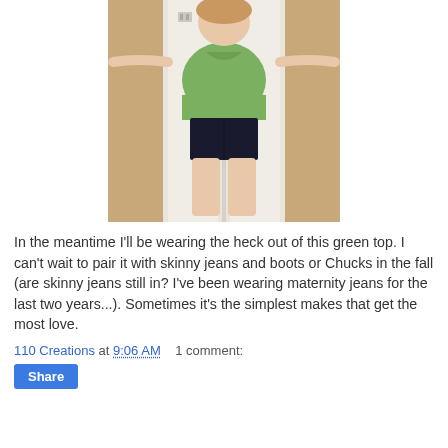[Figure (photo): Person wearing a green v-neck t-shirt and dark navy shorts, standing with arms outstretched in front of a white door, photographed from the chest down.]
In the meantime I'll be wearing the heck out of this green top. I can't wait to pair it with skinny jeans and boots or Chucks in the fall (are skinny jeans still in? I've been wearing maternity jeans for the last two years...). Sometimes it's the simplest makes that get the most love.
110 Creations at 9:06 AM   1 comment:
Share